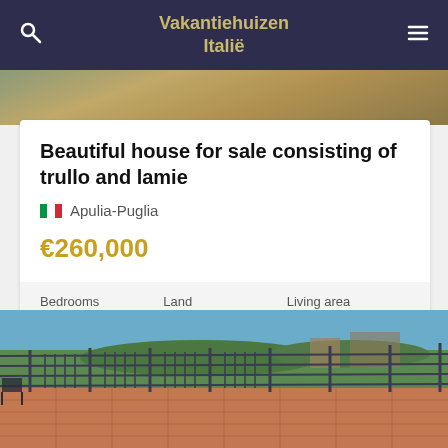Vakantiehuizen Italië
[Figure (photo): Top portion of a property photo, showing landscape/outdoor area]
Beautiful house for sale consisting of trullo and lamie
Apulia-Puglia
€260,000
| Bedrooms | Land | Living area |
| --- | --- | --- |
| 2 | 11,000 m² | 128 m² |
[Figure (photo): Terrace with iron fence railing, view over green landscape and buildings]